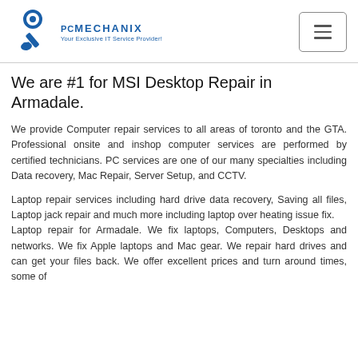PC MECHANIX – Your Exclusive IT Service Provider!
We are #1 for MSI Desktop Repair in Armadale.
We provide Computer repair services to all areas of toronto and the GTA. Professional onsite and inshop computer services are performed by certified technicians. PC services are one of our many specialties including Data recovery, Mac Repair, Server Setup, and CCTV.
Laptop repair services including hard drive data recovery, Saving all files, Laptop jack repair and much more including laptop over heating issue fix. Laptop repair for Armadale. We fix laptops, Computers, Desktops and networks. We fix Apple laptops and Mac gear. We repair hard drives and can get your files back. We offer excellent prices and turn around times, some of